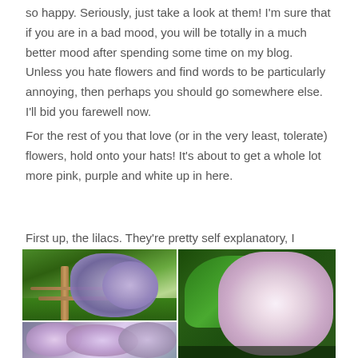so happy. Seriously, just take a look at them! I'm sure that if you are in a bad mood, you will be totally in a much better mood after spending some time on my blog. Unless you hate flowers and find words to be particularly annoying, then perhaps you should go somewhere else. I'll bid you farewell now.
For the rest of you that love (or in the very least, tolerate) flowers, hold onto your hats! It's about to get a whole lot more pink, purple and white up in here.
First up, the lilacs. They're pretty self explanatory, I should think.
[Figure (photo): Three photos of lilac flowers: top-left shows purple lilacs near a wooden fence with green grass background; bottom-left shows close-up of pink/purple lilac blooms; right shows close-up of white and pink lilac flowers with large green leaves.]